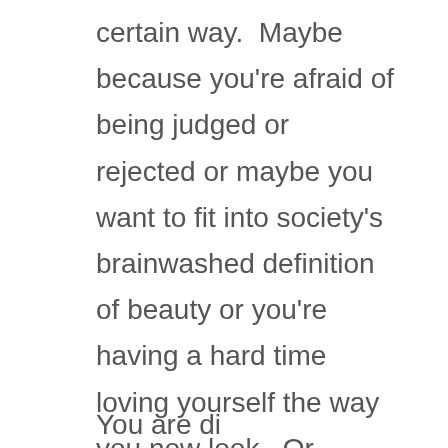certain way.  Maybe because you're afraid of being judged or rejected or maybe you want to fit into society's brainwashed definition of beauty or you're having a hard time loving yourself the way you now look.  Or maybe you want to “show” your old boyfriend what he so unwisely gave up…
Now let’s look at your soul’s version of that same intention.
You are di...